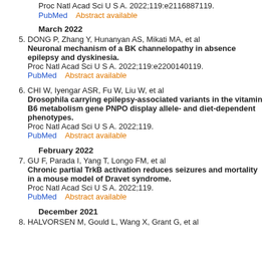Proc Natl Acad Sci U S A. 2022;119:e2116887119.
PubMed    Abstract available
March 2022
5. DONG P, Zhang Y, Hunanyan AS, Mikati MA, et al
Neuronal mechanism of a BK channelopathy in absence epilepsy and dyskinesia.
Proc Natl Acad Sci U S A. 2022;119:e2200140119.
PubMed    Abstract available
6. CHI W, Iyengar ASR, Fu W, Liu W, et al
Drosophila carrying epilepsy-associated variants in the vitamin B6 metabolism gene PNPO display allele- and diet-dependent phenotypes.
Proc Natl Acad Sci U S A. 2022;119.
PubMed    Abstract available
February 2022
7. GU F, Parada I, Yang T, Longo FM, et al
Chronic partial TrkB activation reduces seizures and mortality in a mouse model of Dravet syndrome.
Proc Natl Acad Sci U S A. 2022;119.
PubMed    Abstract available
December 2021
8. HALVORSEN M, Gould L, Wang X, Grant G, et al